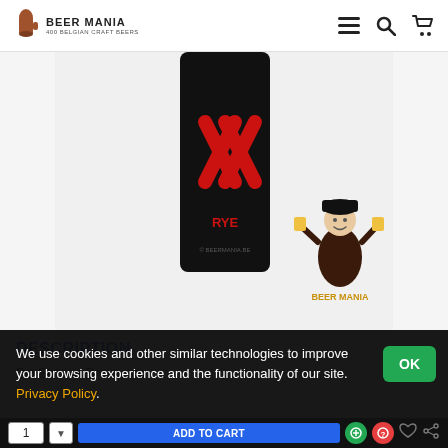BEER MANIA — 400 Belgian Craft Beers
[Figure (photo): Black beer can with red XX RYE label design, with Beer Mania mascot character (nun figure) to the right]
DESCRIPTION
De Struise Brouwers
We use cookies and other similar technologies to improve your browsing experience and the functionality of our site. Privacy Policy.
OK